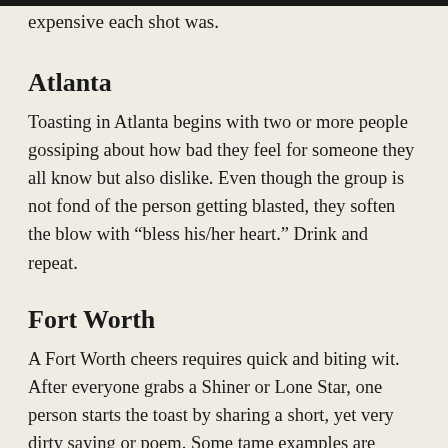expensive each shot was.
Atlanta
Toasting in Atlanta begins with two or more people gossiping about how bad they feel for someone they all know but also dislike. Even though the group is not fond of the person getting blasted, they soften the blow with “bless his/her heart.” Drink and repeat.
Fort Worth
A Fort Worth cheers requires quick and biting wit. After everyone grabs a Shiner or Lone Star, one person starts the toast by sharing a short, yet very dirty saying or poem. Some tame examples are